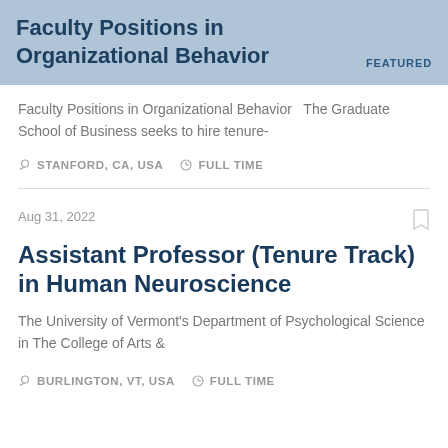Faculty Positions in Organizational Behavior FEATURED
Faculty Positions in Organizational Behavior   The Graduate School of Business seeks to hire tenure-
STANFORD, CA, USA   FULL TIME
Aug 31, 2022
Assistant Professor (Tenure Track) in Human Neuroscience
The University of Vermont’s Department of Psychological Science in The College of Arts &
BURLINGTON, VT, USA   FULL TIME